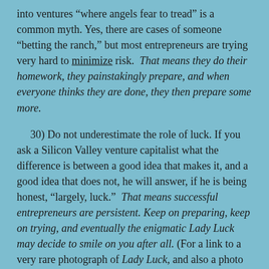into ventures “where angels fear to tread” is a common myth. Yes, there are cases of someone “betting the ranch,” but most entrepreneurs are trying very hard to minimize risk.  That means they do their homework, they painstakingly prepare, and when everyone thinks they are done, they then prepare some more.
30) Do not underestimate the role of luck. If you ask a Silicon Valley venture capitalist what the difference is between a good idea that makes it, and a good idea that does not, he will answer, if he is being honest, “largely, luck.”  That means successful entrepreneurs are persistent. Keep on preparing, keep on trying, and eventually the enigmatic Lady Luck may decide to smile on you after all. (For a link to a very rare photograph of Lady Luck, and also a photo of her sister, Lady Fortuna, see section (5) of the Q³ Strategy Odyssey.)